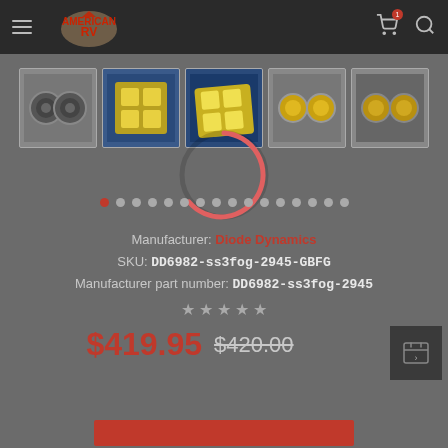[Figure (screenshot): Website navigation bar with hamburger menu, American RV logo, cart icon with badge, and search icon on dark background]
[Figure (photo): Row of 5 product thumbnail images showing fog light assemblies - first shows pair of circular fog lights in grey, second and third show yellow LED fog lights, fourth and fifth show additional views of the lights]
[Figure (other): Red circular loading spinner overlay in center of page]
Manufacturer: Diode Dynamics
SKU: DD6982-ss3fog-2945-GBFG
Manufacturer part number: DD6982-ss3fog-2945
$419.95  $420.00
[Figure (other): Red Add to Cart button at bottom]